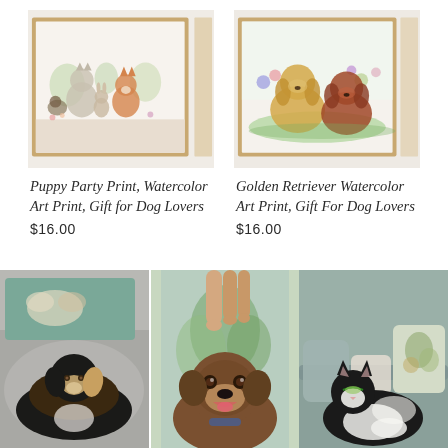[Figure (illustration): Watercolor art print showing multiple whimsical animals (cats, dogs, fox) grouped together with flowers and foliage, framed in wood frames stacked/leaning against wall]
Puppy Party Print, Watercolor Art Print, Gift for Dog Lovers
$16.00
[Figure (illustration): Watercolor art print showing two dogs (golden retriever and brown dog) sitting in a garden with colorful flowers, framed in wood frames]
Golden Retriever Watercolor Art Print, Gift For Dog Lovers
$16.00
[Figure (photo): Photo of a black and brown tricolor dog (Australian Shepherd type) lying on a grey fluffy blanket/bed, with a decorative pillow behind showing a dog illustration on teal background]
[Figure (photo): Photo of a brown brindle dog (Boxer/pit mix) looking at camera in front of a large illustrated artwork depicting hands and a plant/leaf scene]
[Figure (photo): Photo of a black and white cat lying on a grey couch/sofa with decorative pillows, one pillow showing a nature illustration]